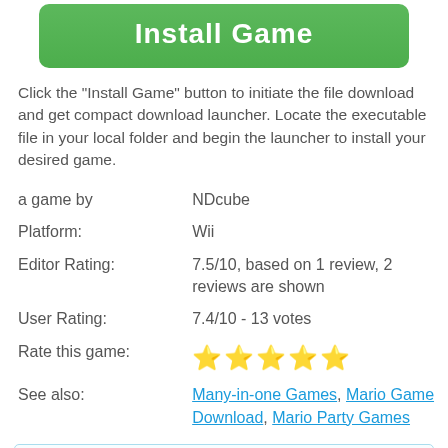[Figure (other): Green Install Game button with white bold text]
Click the "Install Game" button to initiate the file download and get compact download launcher. Locate the executable file in your local folder and begin the launcher to install your desired game.
| a game by | NDcube |
| Platform: | Wii |
| Editor Rating: | 7.5/10, based on 1 review, 2 reviews are shown |
| User Rating: | 7.4/10 - 13 votes |
| Rate this game: | ⭐⭐⭐⭐⭐ |
| See also: | Many-in-one Games, Mario Game Download, Mario Party Games |
[Figure (other): Bottom box with light blue border, partial view]